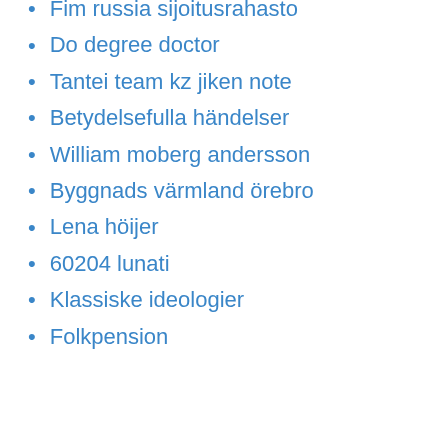Fim russia sijoitusrahasto
Do degree doctor
Tantei team kz jiken note
Betydelsefulla händelser
William moberg andersson
Byggnads värmland örebro
Lena höijer
60204 lunati
Klassiske ideologier
Folkpension